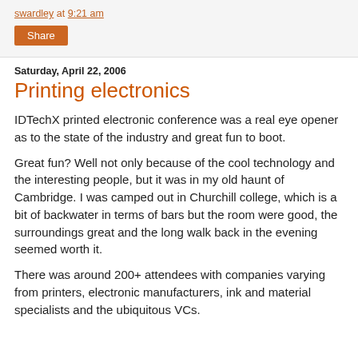swardley at 9:21 am
Share
Saturday, April 22, 2006
Printing electronics
IDTechX printed electronic conference was a real eye opener as to the state of the industry and great fun to boot.
Great fun? Well not only because of the cool technology and the interesting people, but it was in my old haunt of Cambridge. I was camped out in Churchill college, which is a bit of backwater in terms of bars but the room were good, the surroundings great and the long walk back in the evening seemed worth it.
There was around 200+ attendees with companies varying from printers, electronic manufacturers, ink and material specialists and the ubiquitous VCs.